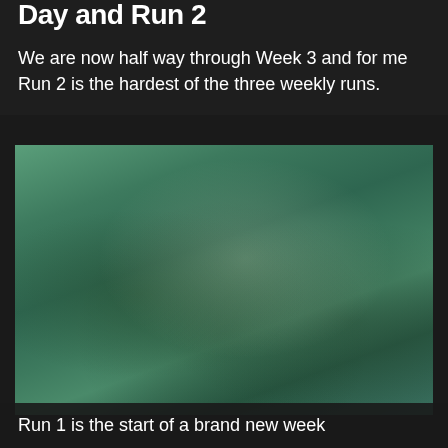Day and Run 2
We are now half way through Week 3 and for me Run 2 is the hardest of the three weekly runs.
[Figure (photo): Blurred outdoor photo with green tones, likely showing a running or park scene]
Run 1 is the start of a brand new week